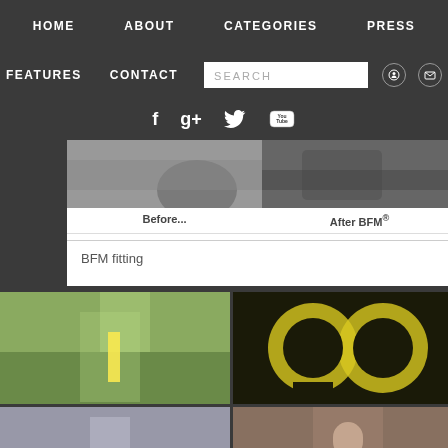HOME   ABOUT   CATEGORIES   PRESS
FEATURES   CONTACT   SEARCH   [instagram] [email]
[facebook] [google+] [twitter] [youtube]
[Figure (photo): Before and after comparison photos of BFM fitting — left panel shows dark grayscale mechanical/industrial image, right panel shows darker metallic industrial equipment]
Before...    After BFM®
BFM fitting
[Figure (photo): Grid of 6 lifestyle/fashion photos: person in yellow shirt in park, yellow and black phone cases, person in yellow in modern building, street scene, smiling young man in striped shirt, person in pink cap at cafe]
[Figure (photo): Dark gray placeholder square]
[Figure (photo): Dark gray placeholder square]